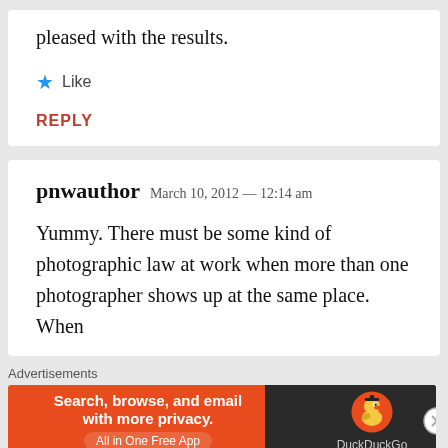pleased with the results.
Like
REPLY
pnwauthor   March 10, 2012 — 12:14 am
Yummy. There must be some kind of photographic law at work when more than one photographer shows up at the same place. When
Advertisements
Search, browse, and email with more privacy. All in One Free App   DuckDuckGo